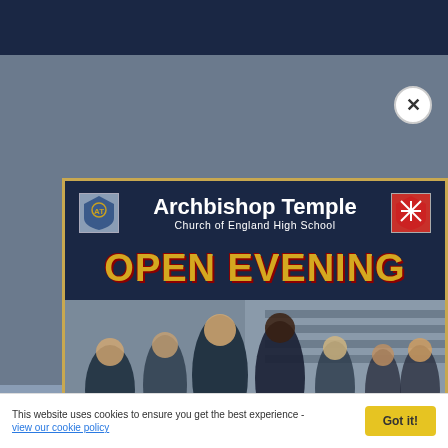[Figure (screenshot): Screenshot of Archbishop Temple Church of England High School website with an Open Evening popup modal overlay. The modal shows the school name with crests, large 'OPEN EVENING' text in gold, a photo of students in school uniform, and a red section with event date and registration call to action.]
Archbishop Temple Church of England High School
OPEN EVENING
WEDNESDAY 19th OCTOBER 2022
4.00pm to 7.00pm
CLICK HERE TO REGISTER
This website uses cookies to ensure you get the best experience - view our cookie policy